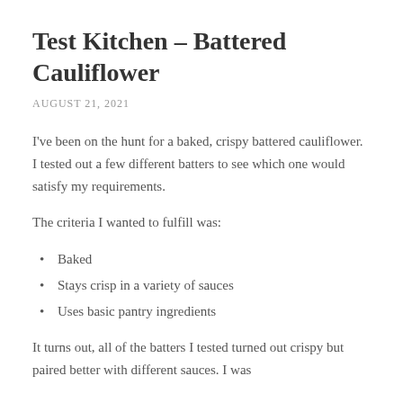Test Kitchen – Battered Cauliflower
AUGUST 21, 2021
I've been on the hunt for a baked, crispy battered cauliflower. I tested out a few different batters to see which one would satisfy my requirements.
The criteria I wanted to fulfill was:
Baked
Stays crisp in a variety of sauces
Uses basic pantry ingredients
It turns out, all of the batters I tested turned out crispy but paired better with different sauces. I was